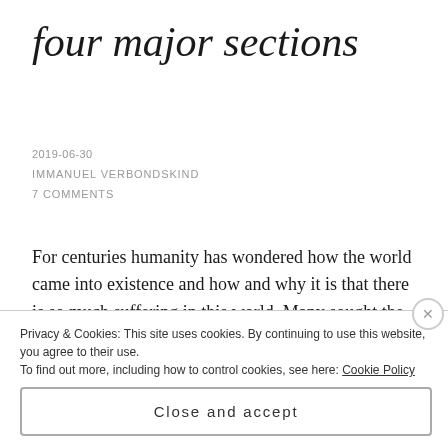four major sections
2019-06-30
IMMANUEL VERBONDSKIND
7 COMMENTS
For centuries humanity has wondered how the world came into existence and how and why it is that there is so much suffering in this world. Many sought the cause of beings or gods existing outside of humanity while the Torah focuses on just one God
Privacy & Cookies: This site uses cookies. By continuing to use this website, you agree to their use.
To find out more, including how to control cookies, see here: Cookie Policy
Close and accept